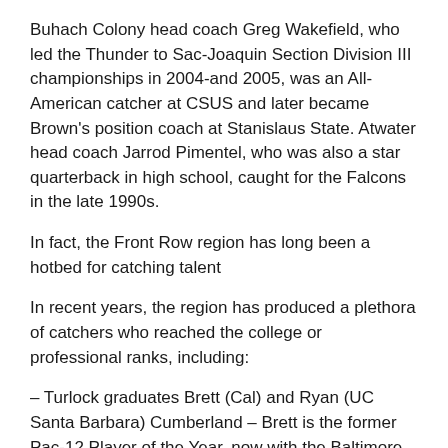Buhach Colony head coach Greg Wakefield, who led the Thunder to Sac-Joaquin Section Division III championships in 2004-and 2005, was an All-American catcher at CSUS and later became Brown's position coach at Stanislaus State. Atwater head coach Jarrod Pimentel, who was also a star quarterback in high school, caught for the Falcons in the late 1990s.
In fact, the Front Row region has long been a hotbed for catching talent
In recent years, the region has produced a plethora of catchers who reached the college or professional ranks, including:
– Turlock graduates Brett (Cal) and Ryan (UC Santa Barbara) Cumberland – Brett is the former Pac-12 Player of the Year, now with the Baltimore Orioles organization, while his brother now coaches catchers at his alma mater.
– Enochs' Jacob Cooper – drafted by the White Sox out of MJC
– Escalon's Nathan Chunn – Signed with Nebraska out of MJC and eventually coached his way back to Stanislaus State.